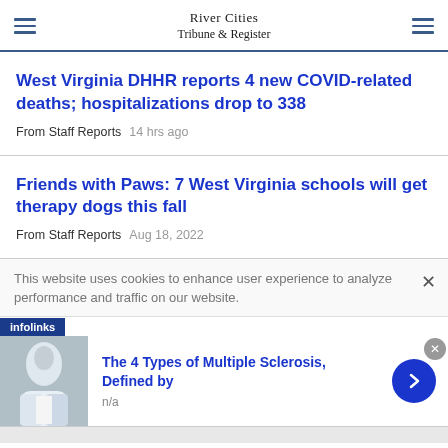River Cities Tribune & Register
West Virginia DHHR reports 4 new COVID-related deaths; hospitalizations drop to 338
From Staff Reports   14 hrs ago
Friends with Paws: 7 West Virginia schools will get therapy dogs this fall
From Staff Reports   Aug 18, 2022
This website uses cookies to enhance user experience to analyze performance and traffic on our website.
[Figure (advertisement): Infolinks ad banner with image of woman and headline: The 4 Types of Multiple Sclerosis, Defined by. Subtext: n/a]